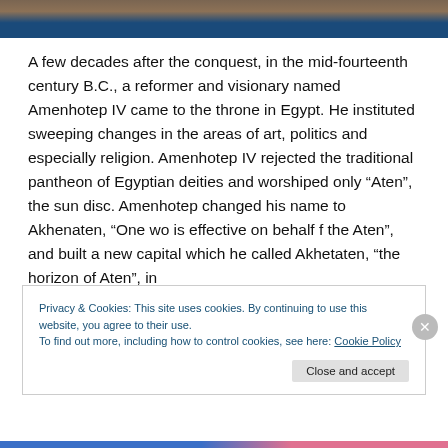[Figure (photo): Partial view of an ancient Egyptian artifact/sculpture on blue background, cropped at top of page]
A few decades after the conquest, in the mid-fourteenth century B.C., a reformer and visionary named Amenhotep IV came to the throne in Egypt. He instituted sweeping changes in the areas of art, politics and especially religion. Amenhotep IV rejected the traditional pantheon of Egyptian deities and worshiped only “Aten”, the sun disc. Amenhotep changed his name to Akhenaten, “One wo is effective on behalf f the Aten”, and built a new capital which he called Akhetaten, “the horizon of Aten”, in
Privacy & Cookies: This site uses cookies. By continuing to use this website, you agree to their use.
To find out more, including how to control cookies, see here: Cookie Policy
Close and accept